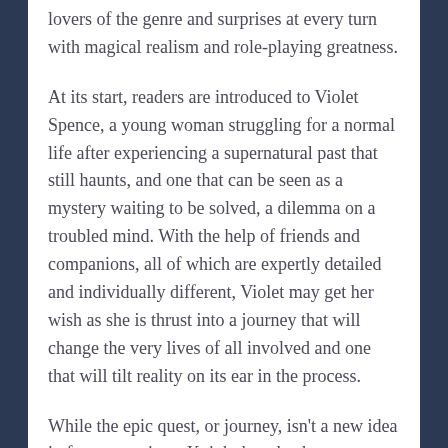lovers of the genre and surprises at every turn with magical realism and role-playing greatness.
At its start, readers are introduced to Violet Spence, a young woman struggling for a normal life after experiencing a supernatural past that still haunts, and one that can be seen as a mystery waiting to be solved, a dilemma on a troubled mind. With the help of friends and companions, all of which are expertly detailed and individually different, Violet may get her wish as she is thrust into a journey that will change the very lives of all involved and one that will tilt reality on its ear in the process.
While the epic quest, or journey, isn't a new idea in fantasy settings, Knight knocks that trope out